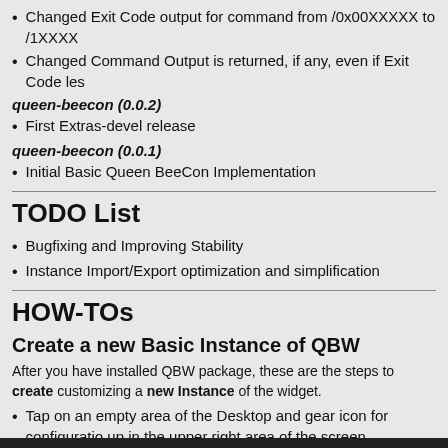Changed Exit Code output for command from /0x00XXXXX to /1XXXX
Changed Command Output is returned, if any, even if Exit Code les
queen-beecon (0.0.2)
First Extras-devel release
queen-beecon (0.0.1)
Initial Basic Queen BeeCon Implementation
TODO List
Bugfixing and Improving Stability
Instance Import/Export optimization and simplification
HOW-TOs
Create a new Basic Instance of QBW
After you have installed QBW package, these are the steps to create customizing a new Instance of the widget.
Tap on an empty area of the Desktop and gear icon for configuration up in the upper right area of the screen